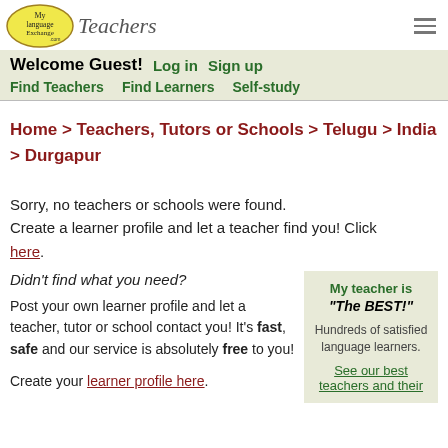[Figure (logo): MyLanguageExchange.com Teachers logo with yellow oval and italic Teachers text]
Welcome Guest! Log in Sign up
Find Teachers Find Learners Self-study
Home > Teachers, Tutors or Schools > Telugu > India > Durgapur
Sorry, no teachers or schools were found. Create a learner profile and let a teacher find you! Click here.
Didn't find what you need?
Post your own learner profile and let a teacher, tutor or school contact you! It's fast, safe and our service is absolutely free to you!
Create your learner profile here.
My teacher is "The BEST!"

Hundreds of satisfied language learners.

See our best teachers and their